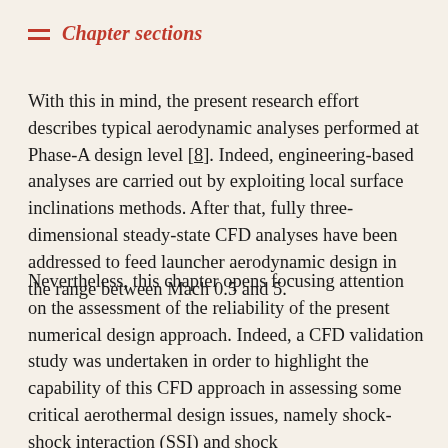Chapter sections
With this in mind, the present research effort describes typical aerodynamic analyses performed at Phase-A design level [8]. Indeed, engineering-based analyses are carried out by exploiting local surface inclinations methods. After that, fully three-dimensional steady-state CFD analyses have been addressed to feed launcher aerodynamic design in the range between Mach 0.5 and 5.
Nevertheless, this chapter opens focusing attention on the assessment of the reliability of the present numerical design approach. Indeed, a CFD validation study was undertaken in order to highlight the capability of this CFD approach in assessing some critical aerothermal design issues, namely shock-shock interaction (SSI) and shock